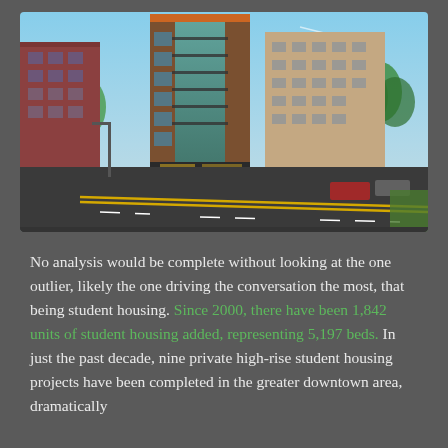[Figure (photo): Street-level photograph of urban apartment buildings, including a tall modern brick high-rise with teal/glass accents and balconies, adjacent to other buildings, with a road featuring yellow lane markings in the foreground and trees on either side.]
No analysis would be complete without looking at the one outlier, likely the one driving the conversation the most, that being student housing. Since 2000, there have been 1,842 units of student housing added, representing 5,197 beds. In just the past decade, nine private high-rise student housing projects have been completed in the greater downtown area, dramatically